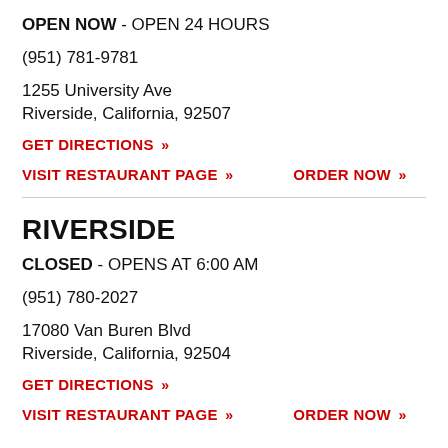OPEN NOW - OPEN 24 HOURS
(951) 781-9781
1255 University Ave
Riverside, California, 92507
GET DIRECTIONS »
VISIT RESTAURANT PAGE »   ORDER NOW »
RIVERSIDE
CLOSED - OPENS AT 6:00 AM
(951) 780-2027
17080 Van Buren Blvd
Riverside, California, 92504
GET DIRECTIONS »
VISIT RESTAURANT PAGE »   ORDER NOW »